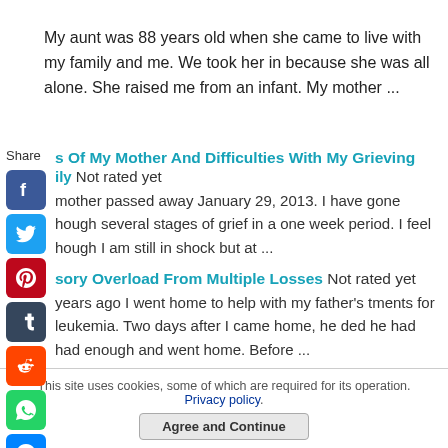My aunt was 88 years old when she came to live with my family and me. We took her in because she was all alone. She raised me from an infant. My mother ...
s Of My Mother And Difficulties With My Grieving
ily Not rated yet
mother passed away January 29, 2013. I have gone hough several stages of grief in a one week period. I feel hough I am still in shock but at ...
sory Overload From Multiple Losses Not rated yet
years ago I went home to help with my father's tments for leukemia. Two days after I came home, he ded he had had enough and went home. Before ...
This site uses cookies, some of which are required for its operation. Privacy policy.